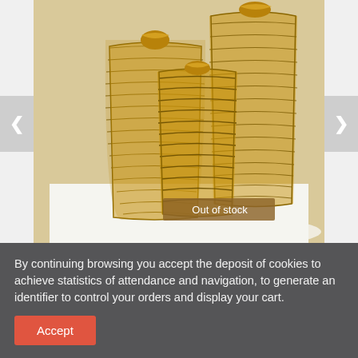[Figure (photo): Three wicker/rattan pendant lamp shades of different heights grouped together on a white surface, with a gray background. An 'Out of stock' badge is overlaid on the lower center of the image. Navigation arrows (< and >) appear on left and right sides.]
Extended suspension TERESA - Set of 3
€20.00
By continuing browsing you accept the deposit of cookies to achieve statistics of attendance and navigation, to generate an identifier to control your orders and display your cart.
Accept